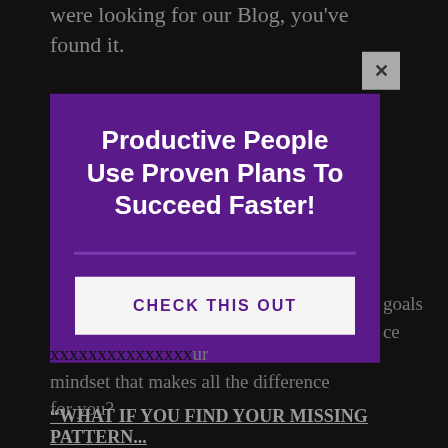were looking for our Blog, you've found it.
Under the Kimono is a modern saying that...n. ...o share ...efore.
[Figure (screenshot): Modal popup with purple background. Contains title 'Productive People Use Proven Plans To Succeed Faster!' and a white button labeled 'CHECK THIS OUT'. Has a gray close (x) button in top right corner.]
...goals ...ce ...ur mindset that makes all the difference for you?
"WHAT IF YOU FIND YOUR MISSING PATTERN..."